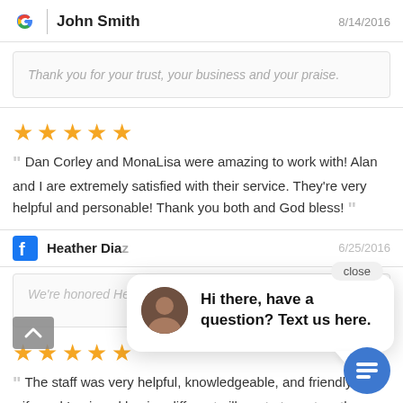John Smith  8/14/2016
Thank you for your trust, your business and your praise.
[Figure (other): 5 gold stars rating]
Dan Corley and MonaLisa were amazing to work with! Alan and I are extremely satisfied with their service. They're very helpful and personable! Thank you both and God bless!
Heather Dia...  6/25/2016
We're honored He...
[Figure (other): Chat popup: Hi there, have a question? Text us here. close button]
[Figure (other): 5 gold stars rating]
The staff was very helpful, knowledgeable, and friendly. My wife and I enjoyed having different pillows to try out on the beds.